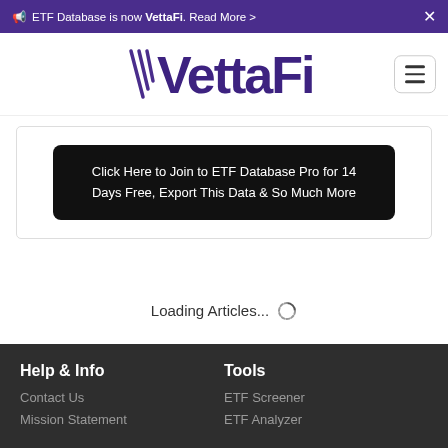ETF Database is now VettaFi. Read More >
[Figure (logo): VettaFi logo with stylized V stripes and bold purple text]
Click Here to Join to ETF Database Pro for 14 Days Free, Export This Data & So Much More
Loading Articles...
Help & Info
Contact Us
Mission Statement
Tools
ETF Screener
ETF Analyzer